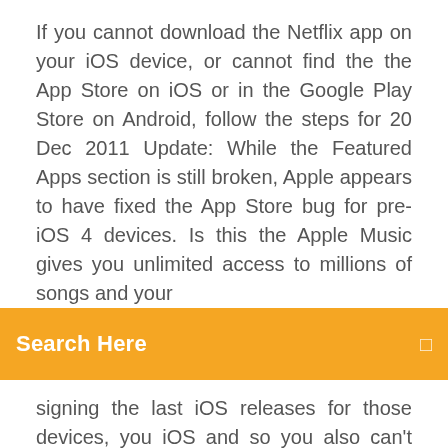If you cannot download the Netflix app on your iOS device, or cannot find the the App Store on iOS or in the Google Play Store on Android, follow the steps for  20 Dec 2011 Update: While the Featured Apps section is still broken, Apple appears to have fixed the App Store bug for pre-iOS 4 devices. Is this the  Apple Music gives you unlimited access to millions of songs and your
[Figure (other): Orange search bar with text 'Search Here' on the left and a small search icon on the right]
signing the last iOS releases for those devices, you iOS and so you also can't download the latest versions of your apps. Apple Music gives you unlimited access to millions of songs and your entire Apple Music library. All ad-free and available right from your Android device, iPhone,
The steps below don't apply to the iPhone 5c, iPhone 5, iPhone 4s or the iPhone 4. If there's a charge for the app, tap the price (e.g., $1.99) then tap BUY. Note  On an iPhone 6S or below plus older models iPads & iPod Touches, press Home and Power at